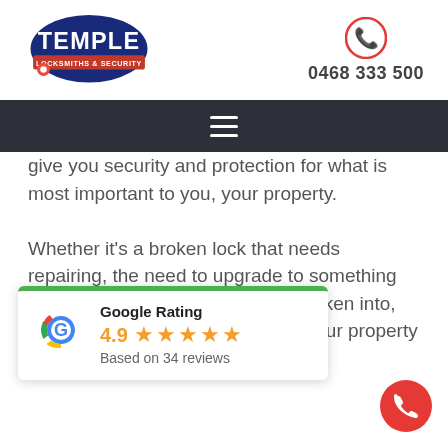[Figure (logo): Temple Locksmiths & Security logo with stylized text and key graphic]
0468 333 500
[Figure (other): Dark navigation bar with hamburger menu icon]
give you security and protection for what is most important to you, your property.

Whether it's a broken lock that needs repairing, the need to upgrade to something safer or if the unthinkable ...y is broken into, Security are ...s to keep you and your property safe.
[Figure (other): Google Rating widget showing 4.9 stars based on 34 reviews]
[Figure (other): Red phone call floating action button]